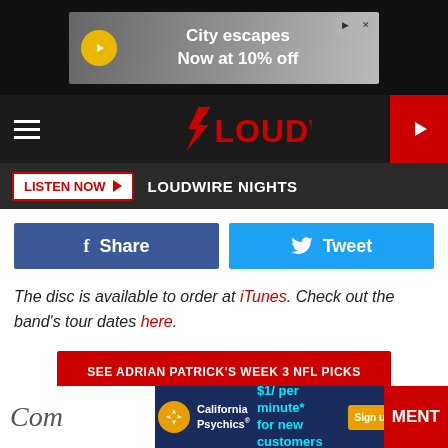[Figure (screenshot): Advertisement banner: City escapes Now at 10% off]
LOUDWIRE
LISTEN NOW   LOUDWIRE NIGHTS
Share   Tweet
The disc is available to order at iTunes. Check out the band's tour dates here.
SEE ADRIAN PATRICK'S WEEK 3 NFL PICKS
Filed Under: Adrian Patrick, Otherwise
Categories: News, Rock
[Figure (screenshot): Advertisement: California Psychics $1/ per minute* for new customers. Sign up now.]